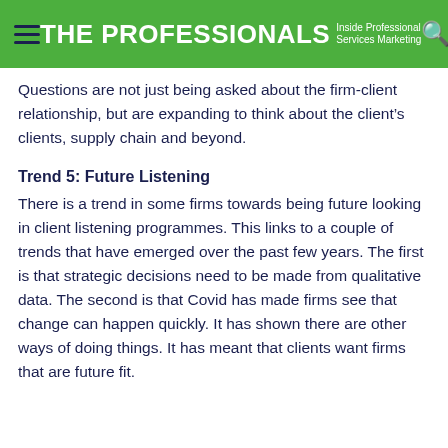THE PROFESSIONALS Inside Professional Services Marketing
Questions are not just being asked about the firm-client relationship, but are expanding to think about the client’s clients, supply chain and beyond.
Trend 5: Future Listening
There is a trend in some firms towards being future looking in client listening programmes. This links to a couple of trends that have emerged over the past few years. The first is that strategic decisions need to be made from qualitative data. The second is that Covid has made firms see that change can happen quickly. It has shown there are other ways of doing things. It has meant that clients want firms that are future fit.